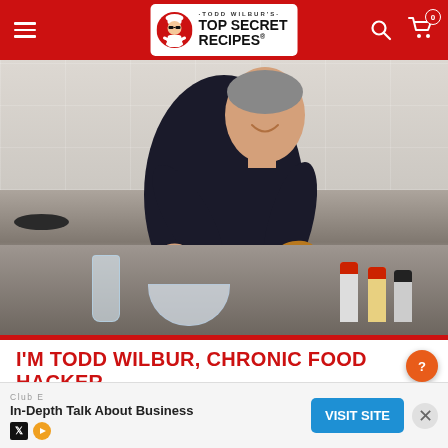Todd Wilbur's Top Secret Recipes - navigation bar
[Figure (photo): Todd Wilbur in a black t-shirt cooking in a modern kitchen with white subway tile backsplash, holding food over a bowl. Kitchen counter has bottles of sauce, a glass carafe, mixing bowls, and a pan on the stove.]
I'M TODD WILBUR, CHRONIC FOOD HACKER
For over 30 years I've been deconstructing America's most iconic brand-name foods to make the best recipes for you to...
[Figure (other): Help/chat button - orange circle with question mark icon]
[Figure (other): Advertisement banner: Club E - In-Depth Talk About Business with Visit Site button]